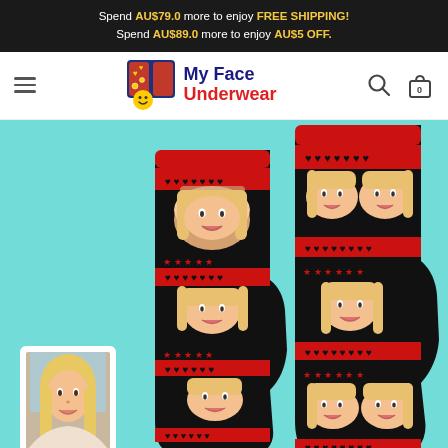Spend AU$79.0 more to enjoy FREE SHIPPING! Spend AU$89.0 more to enjoy AU$5 OFF.
[Figure (logo): My Face Underwear logo with underwear icon and colorful text]
[Figure (photo): Two custom face socks with woman's face printed on black socks with red heart and star pattern stripe design, displayed on teal background. A reference photo thumbnail of a smiling blonde woman appears bottom left.]